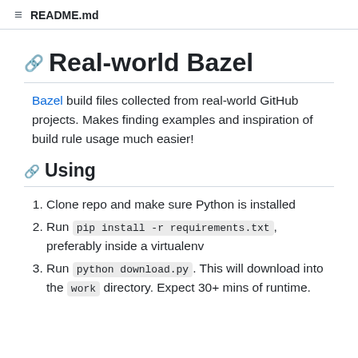README.md
Real-world Bazel
Bazel build files collected from real-world GitHub projects. Makes finding examples and inspiration of build rule usage much easier!
Using
Clone repo and make sure Python is installed
Run pip install -r requirements.txt , preferably inside a virtualenv
Run python download.py . This will download into the work directory. Expect 30+ mins of runtime.